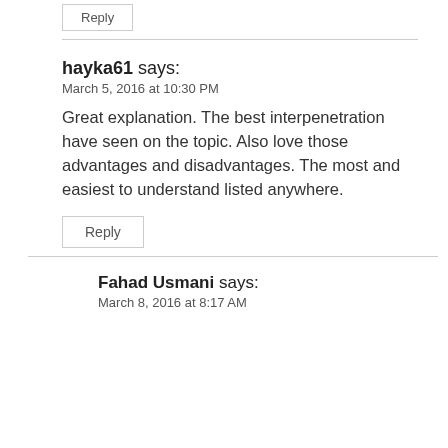Reply
hayka61 says:
March 5, 2016 at 10:30 PM
Great explanation. The best interpenetration have seen on the topic. Also love those advantages and disadvantages. The most and easiest to understand listed anywhere.
Reply
Fahad Usmani says:
March 8, 2016 at 8:17 AM